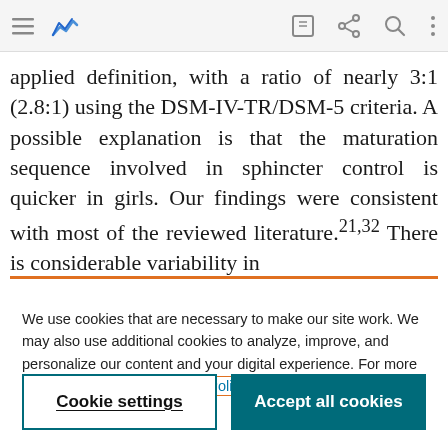[Figure (screenshot): Mobile browser toolbar with hamburger menu, blue chart icon, edit icon, share/scissors icon, search icon, and vertical dots menu icon on grey background]
applied definition, with a ratio of nearly 3:1 (2.8:1) using the DSM-IV-TR/DSM-5 criteria. A possible explanation is that the maturation sequence involved in sphincter control is quicker in girls. Our findings were consistent with most of the reviewed literature.21,32 There is considerable variability in
We use cookies that are necessary to make our site work. We may also use additional cookies to analyze, improve, and personalize our content and your digital experience. For more information, see our Cookie Policy
Cookie settings
Accept all cookies